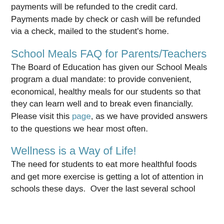payments will be refunded to the credit card. Payments made by check or cash will be refunded via a check, mailed to the student's home.
School Meals FAQ for Parents/Teachers
The Board of Education has given our School Meals program a dual mandate: to provide convenient, economical, healthy meals for our students so that they can learn well and to break even financially. Please visit this page, as we have provided answers to the questions we hear most often.
Wellness is a Way of Life!
The need for students to eat more healthful foods and get more exercise is getting a lot of attention in schools these days.  Over the last several school